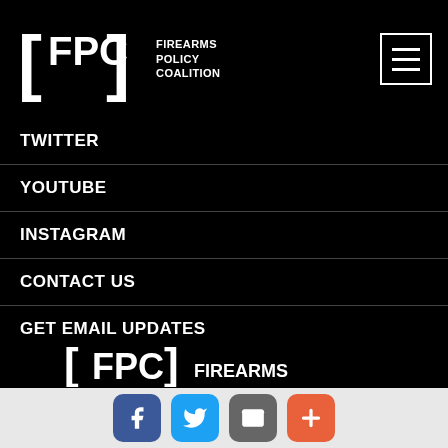[Figure (logo): Firearms Policy Coalition [FPC] logo in white on black background, with hamburger menu button top right]
TWITTER
YOUTUBE
INSTAGRAM
CONTACT US
GET EMAIL UPDATES
PRESS INFO
PRIVACY POLICY
TERMS OF SERVICE
[Figure (logo): FPC Firearms Policy Coalition logo partially visible at bottom of black area]
[Figure (infographic): Social sharing bar with Facebook (blue), Twitter (light blue), Email (gray), and Plus/share (orange-red) icon buttons]